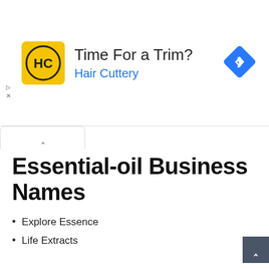[Figure (other): Hair Cuttery advertisement banner with yellow logo showing 'HC', headline 'Time For a Trim?', subtext 'Hair Cuttery', and a blue diamond navigation arrow icon on the right.]
Essential-oil Business Names
Explore Essence
Life Extracts